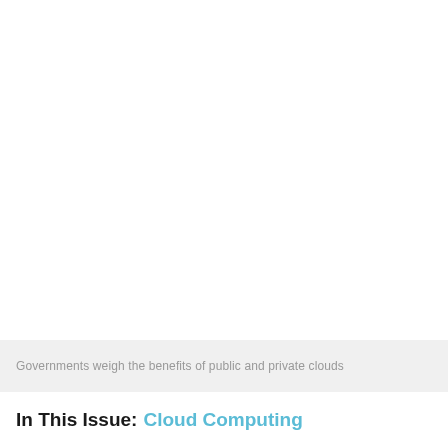Governments weigh the benefits of public and private clouds
In This Issue: Cloud Computing